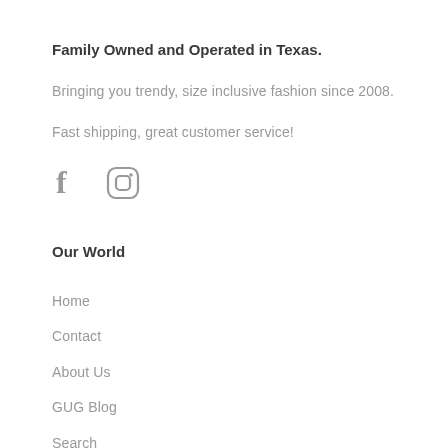Family Owned and Operated in Texas.
Bringing you trendy, size inclusive fashion since 2008.
Fast shipping, great customer service!
[Figure (illustration): Social media icons: Facebook (f) and Instagram (circle with rounded square)]
Our World
Home
Contact
About Us
GUG Blog
Search